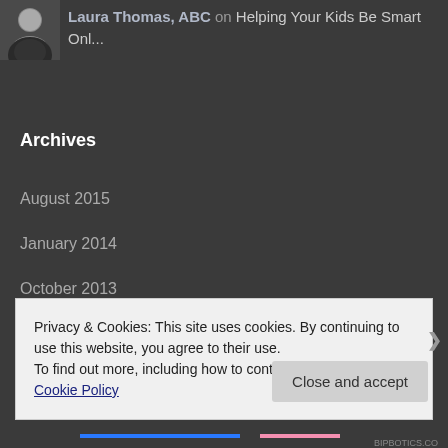[Figure (photo): Small avatar/profile photo of a person in dark clothing]
Laura Thomas, ABC on Helping Your Kids Be Smart Onl...
Archives
August 2015
January 2014
October 2013
September 2013
Privacy & Cookies: This site uses cookies. By continuing to use this website, you agree to their use.
To find out more, including how to control cookies, see here: Cookie Policy
Close and accept